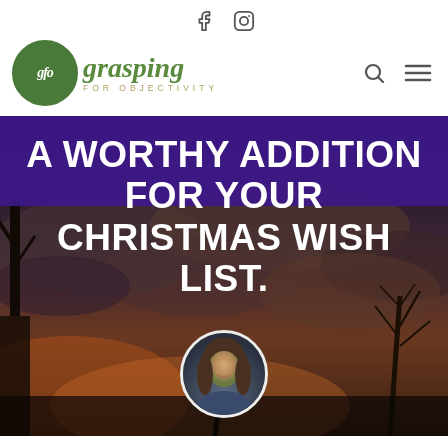Social icons: Facebook, Instagram
[Figure (logo): Grasping for Objectivity (gfo) logo - green circle with stylized gfo text, beside green cursive 'grasping FOR OBJECTIVITY' text]
[Figure (photo): Hero image: outdoor scene with dramatic cloudy sky at dusk, bare trees silhouetted, overlaid with deep purple banner at top. Large white bold uppercase text reads 'A WORTHY ADDITION FOR YOUR CHRISTMAS WISH LIST.' A circular portrait of a smiling young woman is shown at the bottom center.]
A WORTHY ADDITION FOR YOUR CHRISTMAS WISH LIST.